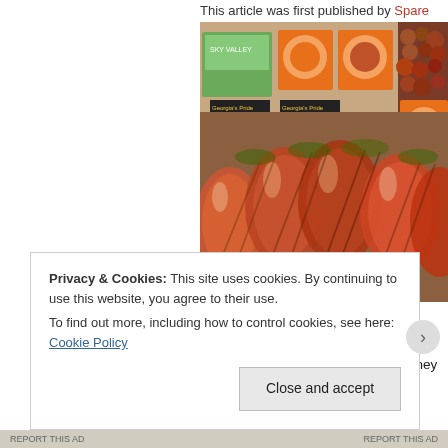This article was first published by Spare
[Figure (photo): Grocery store display showing bags of packaged carrots or similar vegetables in plastic wrap, with branded cardboard boxes/signage including 'Sky Valley' and 'Georgia's Pride' brands visible in the background, along with small red round produce items.]
Nearly one in every 20 households in Massa meals from 2008 to 2010, because they coul Economic Research Service.
Privacy & Cookies: This site uses cookies. By continuing to use this website, you agree to their use. To find out more, including how to control cookies, see here: Cookie Policy
Close and accept